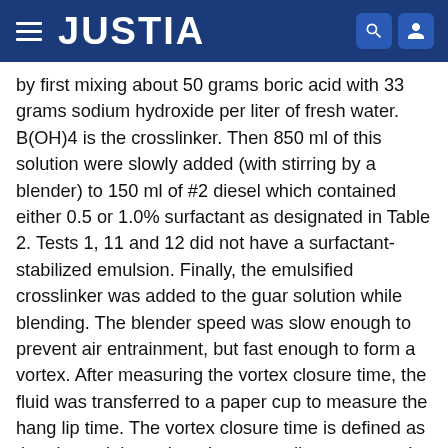JUSTIA
by first mixing about 50 grams boric acid with 33 grams sodium hydroxide per liter of fresh water. B(OH)4 is the crosslinker. Then 850 ml of this solution were slowly added (with stirring by a blender) to 150 ml of #2 diesel which contained either 0.5 or 1.0% surfactant as designated in Table 2. Tests 1, 11 and 12 did not have a surfactant-stabilized emulsion. Finally, the emulsified crosslinker was added to the guar solution while blending. The blender speed was slow enough to prevent air entrainment, but fast enough to form a vortex. After measuring the vortex closure time, the fluid was transferred to a paper cup to measure the hang lip time. The vortex closure time is defined as the elapsed time when the vortex disappears and the surface of the crosslinked fluid ceases to move. Hang lip time is defined as the elapsed time when the fluid can be momentarily suspended from the lip of one of the cups